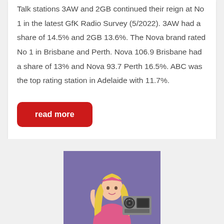Talk stations 3AW and 2GB continued their reign at No 1 in the latest GfK Radio Survey (5/2022). 3AW had a share of 14.5% and 2GB 13.6%. The Nova brand rated No 1 in Brisbane and Perth. Nova 106.9 Brisbane had a share of 13% and Nova 93.7 Perth 16.5%. ABC was the top rating station in Adelaide with 11.7%.
read more
[Figure (photo): A blonde woman in a pink outfit holding a boombox/radio against a purple background]